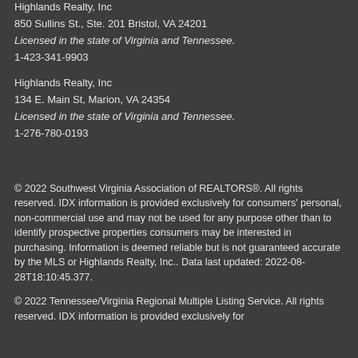Highlands Realty, Inc
850 Sullins St., Ste. 201 Bristol, VA 24201
Licensed in the state of Virginia and Tennessee.
1-423-341-9903
Highlands Realty, Inc
134 E. Main St, Marion, VA 24354
Licensed in the state of Virginia and Tennessee.
1-276-780-0193
© 2022 Southwest Virginia Association of REALTORS®. All rights reserved. IDX information is provided exclusively for consumers' personal, non-commercial use and may not be used for any purpose other than to identify prospective properties consumers may be interested in purchasing. Information is deemed reliable but is not guaranteed accurate by the MLS or Highlands Realty, Inc.. Data last updated: 2022-08-28T18:10:45.377.
© 2022 Tennessee/Virginia Regional Multiple Listing Service. All rights reserved. IDX information is provided exclusively for